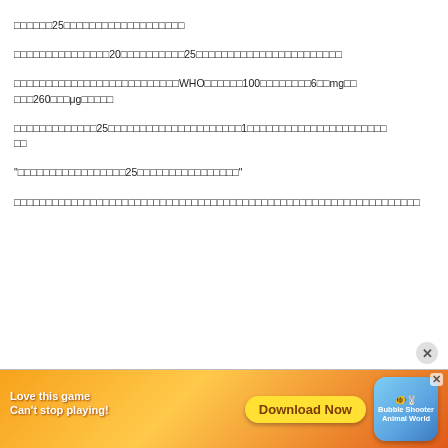□□□□□□25□□□□□□□□□□□□□□□□□□□
□□□□□□□□□□□□□□□20□□□□□□□□□□25□□□□□□□□□□□□□□□□□□□□□□□
□□□□□□□□□□□□□□□□□□□□□□□□□□WHO□□□□□□100□□□□□□□□6□□mg□□□□□260□□□μg□□□□□
□□□□□□□□□□□□□25□□□□□□□□□□□□□□□□□□□□□1□□□□□□□□□□□□□□□□□□□□□□
“□□□□□□□□□□□□□□□□□25□□□□□□□□□□□□□□□□”
□□□□□□□□□□□□□□□□□□□□□□□□□□□□□□□□□□□□□□□□□□□□□□□□□□□□□□□□□□□□□□□□
[Figure (other): Advertisement banner: 'Love this game Can't stop playing! Download Now' with Bubble Shooter Animal World game icon and close button]